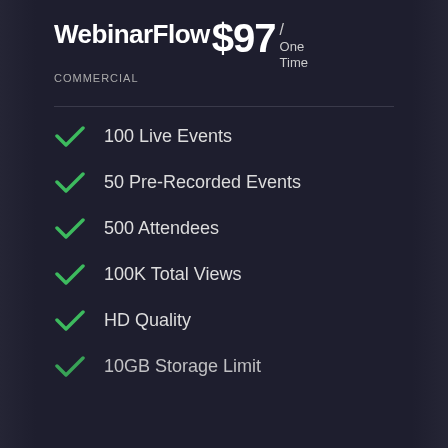WebinarFlow $97 / One Time
COMMERCIAL
100 Live Events
50 Pre-Recorded Events
500 Attendees
100K Total Views
HD Quality
10GB Storage Limit